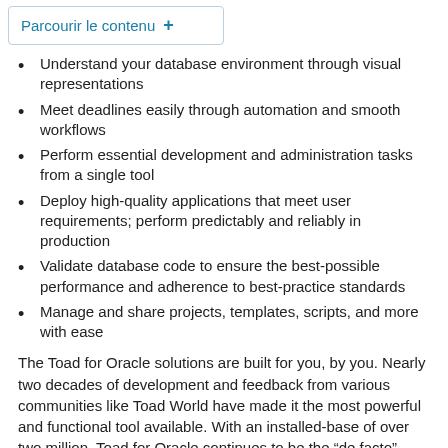Parcourir le contenu +
Understand your database environment through visual representations
Meet deadlines easily through automation and smooth workflows
Perform essential development and administration tasks from a single tool
Deploy high-quality applications that meet user requirements; perform predictably and reliably in production
Validate database code to ensure the best-possible performance and adherence to best-practice standards
Manage and share projects, templates, scripts, and more with ease
The Toad for Oracle solutions are built for you, by you. Nearly two decades of development and feedback from various communities like Toad World have made it the most powerful and functional tool available. With an installed-base of over two million, Toad for Oracle continues to be the “de facto” standard tool for database development and administration.
Toad for Oracle resources